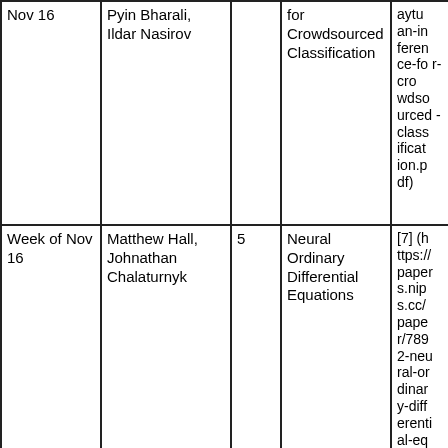| Date | Presenters | Score | Paper | Link |
| --- | --- | --- | --- | --- |
| Nov 16 | Pyin Bharali, Ildar Nasirov |  | for Crowdsourced Classification | aytu an-inference-for-crowdsourced-classification.pdf) |
| Week of Nov 16 | Matthew Hall, Johnathan Chalaturnyk | 5 | Neural Ordinary Differential Equations | [7] (https://papers.nips.cc/paper/7892-neural-ordinary-differential-equations |